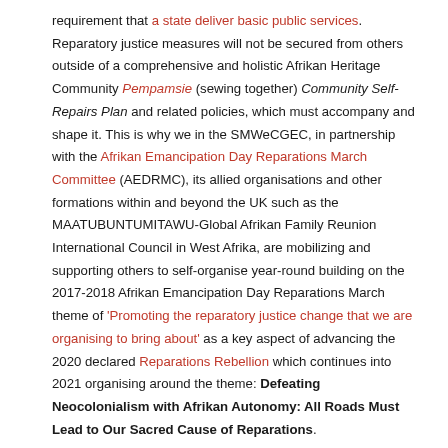requirement that a state deliver basic public services. Reparatory justice measures will not be secured from others outside of a comprehensive and holistic Afrikan Heritage Community Pempamsie (sewing together) Community Self-Repairs Plan and related policies, which must accompany and shape it. This is why we in the SMWeCGEC, in partnership with the Afrikan Emancipation Day Reparations March Committee (AEDRMC), its allied organisations and other formations within and beyond the UK such as the MAATUBUNTUMITAWU-Global Afrikan Family Reunion International Council in West Afrika, are mobilizing and supporting others to self-organise year-round building on the 2017-2018 Afrikan Emancipation Day Reparations March theme of 'Promoting the reparatory justice change that we are organising to bring about' as a key aspect of advancing the 2020 declared Reparations Rebellion which continues into 2021 organising around the theme: Defeating Neocolonialism with Afrikan Autonomy: All Roads Must Lead to Our Sacred Cause of Reparations.